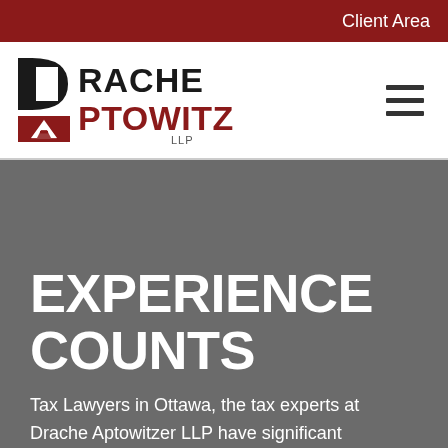Client Area
[Figure (logo): Drache Aptowitzer LLP law firm logo with stylized D and A letters in black and dark red, followed by text DRACHE APTOWITZER LLP]
EXPERIENCE COUNTS
Tax Lawyers in Ottawa, the tax experts at Drache Aptowitzer LLP have significant